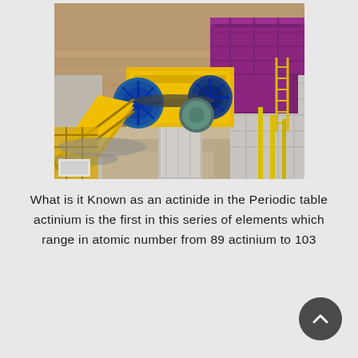[Figure (photo): Industrial mining/crushing equipment at a quarry or mining site. Shows a large purple/magenta hopper or crusher machine with yellow conveyor belts and machinery, set against an open-pit rock face with earthen slopes in the background.]
What is it Known as an actinide in the Periodic table actinium is the first in this series of elements which range in atomic number from 89 actinium to 103